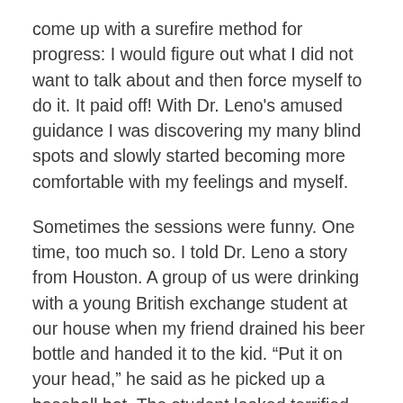come up with a surefire method for progress: I would figure out what I did not want to talk about and then force myself to do it. It paid off! With Dr. Leno's amused guidance I was discovering my many blind spots and slowly started becoming more comfortable with my feelings and myself.
Sometimes the sessions were funny. One time, too much so. I told Dr. Leno a story from Houston. A group of us were drinking with a young British exchange student at our house when my friend drained his beer bottle and handed it to the kid. “Put it on your head,” he said as he picked up a baseball bat. The student looked terrified until we all started laughing.
Dr. Leno and I both laughed. But when I tried to continue talking he burst out in laughter again. And